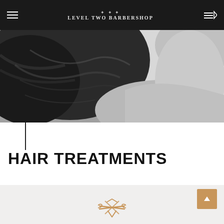Level Two Barbershop
[Figure (photo): Black and white close-up photo of the back of a person's head/hair and shoulder area]
HAIR TREATMENTS
[Figure (logo): Level Two Barbershop crossed scissors/razors logo icon in golden/bronze color]